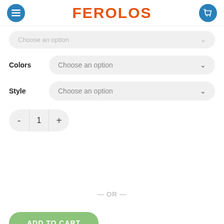FEROLOS
Choose an option
Colors — Choose an option
Style — Choose an option
1
— OR —
ADD TO CART